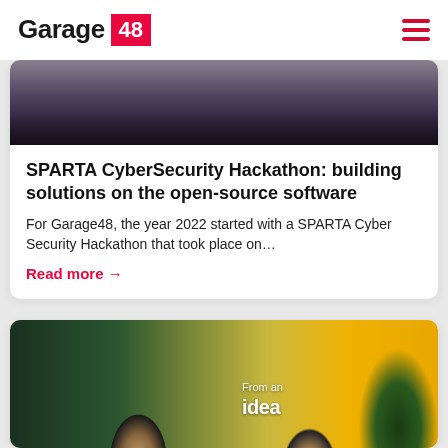Garage 48
[Figure (photo): Crowd photo at hackathon event, dark toned image]
SPARTA CyberSecurity Hackathon: building solutions on the open-source software
For Garage48, the year 2022 started with a SPARTA Cyber Security Hackathon that took place on…
Read more →
[Figure (photo): Two people at an event, a woman clapping on the left and a man on the right, with a banner reading 'From an idea' in the background, plants visible, yellow backdrop]